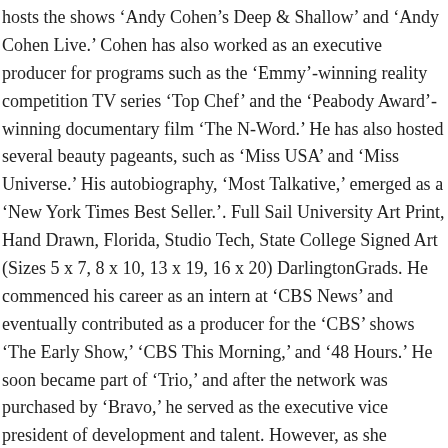hosts the shows ‘Andy Cohen’s Deep & Shallow’ and ‘Andy Cohen Live.’ Cohen has also worked as an executive producer for programs such as the ‘Emmy’-winning reality competition TV series ‘Top Chef’ and the ‘Peabody Award’-winning documentary film ‘The N-Word.’ He has also hosted several beauty pageants, such as ‘Miss USA’ and ‘Miss Universe.’ His autobiography, ‘Most Talkative,’ emerged as a ‘New York Times Best Seller.’. Full Sail University Art Print, Hand Drawn, Florida, Studio Tech, State College Signed Art (Sizes 5 x 7, 8 x 10, 13 x 19, 16 x 20) DarlingtonGrads. He commenced his career as an intern at ‘CBS News’ and eventually contributed as a producer for the ‘CBS’ shows ‘The Early Show,’ ‘CBS This Morning,’ and ‘48 Hours.’ He soon became part of ‘Trio,’ and after the network was purchased by ‘Bravo,’ he served as the executive vice president of development and talent. However, as she remained in constant public attention, her relationships served as a fodder for celebrity gossips. Born into a Catholic family with political leanings, he became interested in politics at an early age due to the influence of his family. The Texas